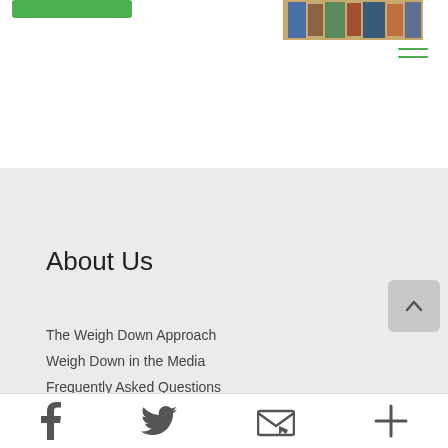[Figure (other): Green button at top left]
[Figure (photo): Product image of books/items on shelf at top right]
[Figure (other): Hamburger menu icon with green lines, top right]
About Us
The Weigh Down Approach
Weigh Down in the Media
Frequently Asked Questions
Donate
Contact Us
Shipping Information
[Figure (other): Scroll to top button with up caret]
Facebook, Twitter, Email, Plus icons in bottom bar